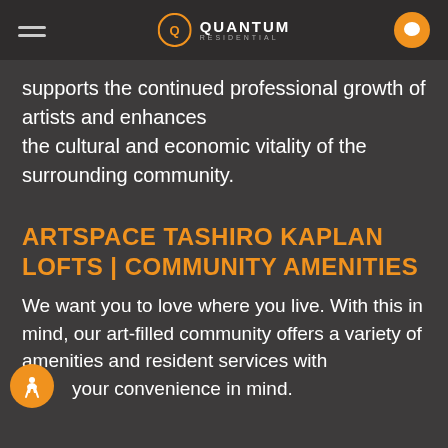QUANTUM RESIDENTIAL
supports the continued professional growth of artists and enhances the cultural and economic vitality of the surrounding community.
ARTSPACE TASHIRO KAPLAN LOFTS | COMMUNITY AMENITIES
We want you to love where you live. With this in mind, our art-filled community offers a variety of amenities and resident services with your convenience in mind.